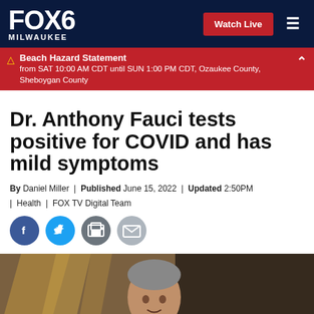FOX6 MILWAUKEE | Watch Live
Beach Hazard Statement from SAT 10:00 AM CDT until SUN 1:00 PM CDT, Ozaukee County, Sheboygan County
Dr. Anthony Fauci tests positive for COVID and has mild symptoms
By Daniel Miller | Published June 15, 2022 | Updated 2:50PM | Health | FOX TV Digital Team
[Figure (photo): Social sharing icons: Facebook, Twitter, Print, Email]
[Figure (photo): Photo of Dr. Anthony Fauci]